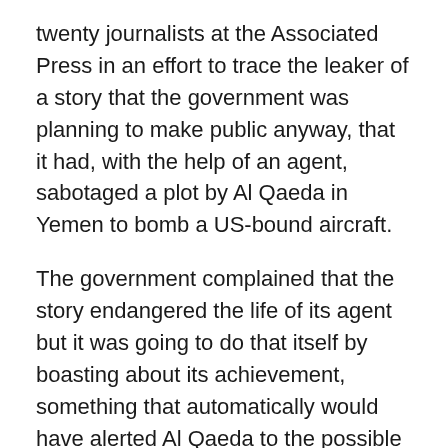twenty journalists at the Associated Press in an effort to trace the leaker of a story that the government was planning to make public anyway, that it had, with the help of an agent, sabotaged a plot by Al Qaeda in Yemen to bomb a US-bound aircraft.
The government complained that the story endangered the life of its agent but it was going to do that itself by boasting about its achievement, something that automatically would have alerted Al Qaeda to the possible presence of a traitor in its ranks. (Ask the IRA: whenever a plot is interdicted in such a way the automatic assumption is that it was betrayed internally)
Then in the last day or so we have learned that in 2010 the same DoJ used a search warrant to acquire the email and phone records of a Fox News reporter, James Rosen